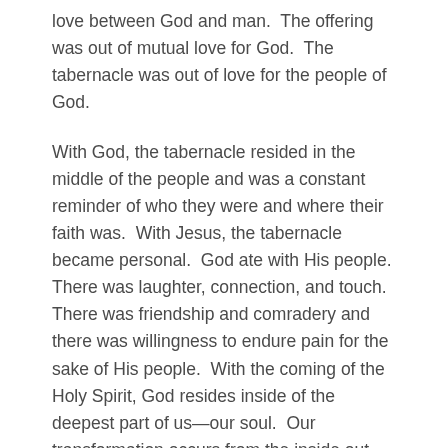love between God and man.  The offering was out of mutual love for God.  The tabernacle was out of love for the people of God.
With God, the tabernacle resided in the middle of the people and was a constant reminder of who they were and where their faith was.  With Jesus, the tabernacle became personal.  God ate with His people.  There was laughter, connection, and touch.  There was friendship and comradery and there was willingness to endure pain for the sake of His people.  With the coming of the Holy Spirit, God resides inside of the deepest part of us—our soul.  Our transformation occurs from the inside out.  Our hearts are changed and renewed and the righteousness of God is imputed to us and dwells in us.
Discussion Questions